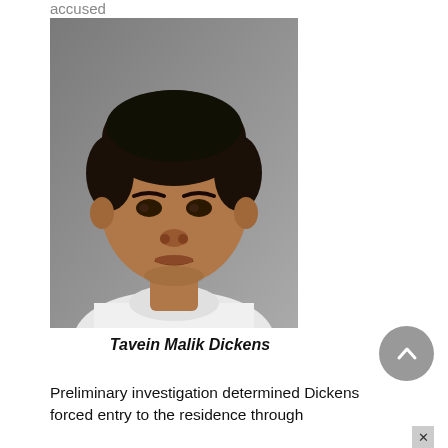accused
[Figure (photo): Mugshot photograph of Tavein Malik Dickens, a young Black male wearing a white t-shirt, against a grey background]
Tavein Malik Dickens
Preliminary investigation determined Dickens forced entry to the residence through